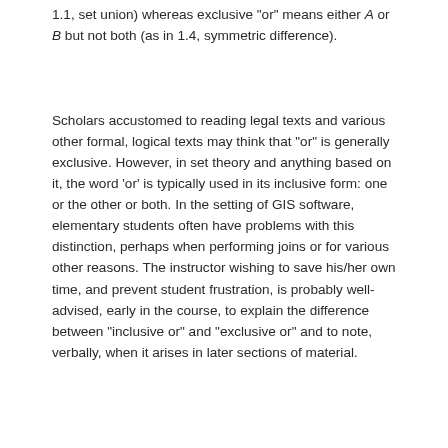1.1, set union) whereas exclusive "or" means either A or B but not both (as in 1.4, symmetric difference).
Scholars accustomed to reading legal texts and various other formal, logical texts may think that "or" is generally exclusive. However, in set theory and anything based on it, the word 'or' is typically used in its inclusive form: one or the other or both. In the setting of GIS software, elementary students often have problems with this distinction, perhaps when performing joins or for various other reasons. The instructor wishing to save his/her own time, and prevent student frustration, is probably well-advised, early in the course, to explain the difference between "inclusive or" and "exclusive or" and to note, verbally, when it arises in later sections of material.